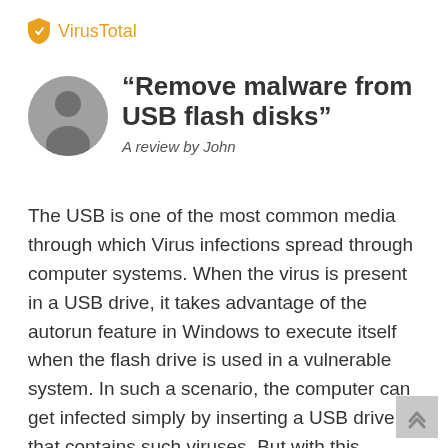VirusTotal
“Remove malware from USB flash disks”
A review by John
The USB is one of the most common media through which Virus infections spread through computer systems. When the virus is present in a USB drive, it takes advantage of the autorun feature in Windows to execute itself when the flash drive is used in a vulnerable system. In such a scenario, the computer can get infected simply by inserting a USB drive that contains such viruses. But with this program, you no longer have to worry about infections through the USB drive. The application takes care of all USB related viruses and infection types.